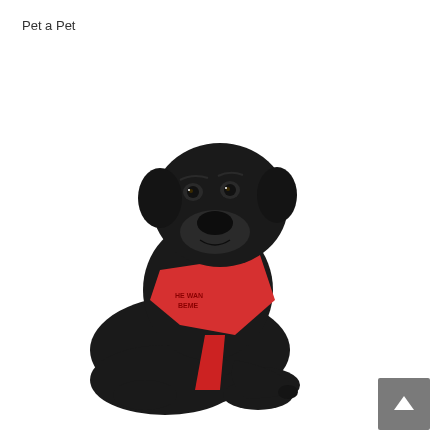Pet a Pet
[Figure (photo): A black Labrador Retriever dog lying down wearing a red bandana with text on it, photographed against a white background.]